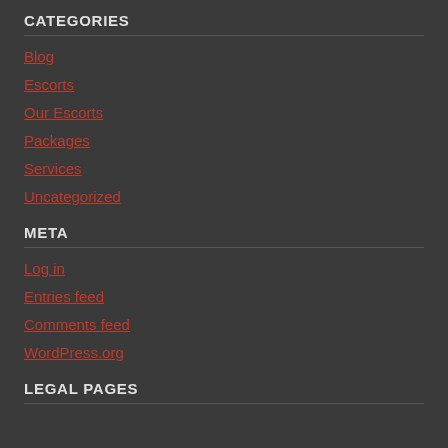CATEGORIES
Blog
Escorts
Our Escorts
Packages
Services
Uncategorized
META
Log in
Entries feed
Comments feed
WordPress.org
LEGAL PAGES